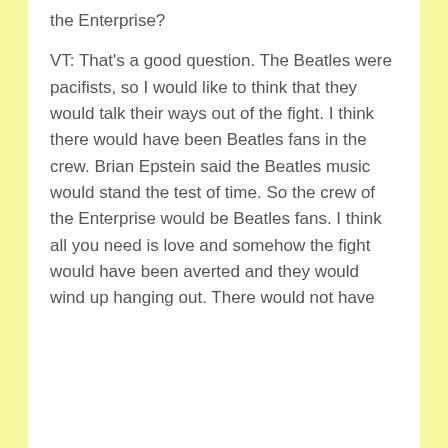the Enterprise?
VT: That's a good question. The Beatles were pacifists, so I would like to think that they would talk their ways out of the fight. I think there would have been Beatles fans in the crew. Brian Epstein said the Beatles music would stand the test of time. So the crew of the Enterprise would be Beatles fans. I think all you need is love and somehow the fight would have been averted and they would wind up hanging out. There would not have been a fight.